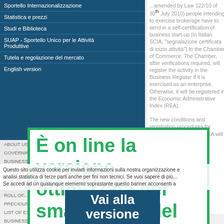Sportello Internazionalizzazione
Statistica e prezzi
Studi e Biblioteca
SUAP - Sportello Unico per le Attività Produttive
Tutela e regolazione del mercato
English version
ABOUT US
GOVERNING BODIES
BUSINESS REGISTER
LIST OF HANDICRAFT BUSINESS
ANNUAL REPORT / BILANCIO PREVENTIVO
ROLL OF BUSINESS AGENTS
ROLL OF...
PRECIOUS METALS
LIST OF EXPERTS
BUSINESS ABROAD
...amended by Law 122/10 of 30th July 2010) people intending to exercise brokerage have to send in a self-certification of business start-up (in Italian SCIA, "segnalazione certificata di inizio attività") to the Chamber of Commerce. The Chamber, after verifications required, will register the activity in the Business Register if it is exercised as an enterprise. Otherwise, it will be registered in the Economic Administrative Index (REA). The new conditions and registration procedures for Business Register and REA will be defined by decree of
È on line la versione ottimizzata per smartphone del sito della Camera di commercio di Alessandria!
Questo sito utilizza cookie per inviarti informazioni sulla nostra organizzazione e analisi statistica di terze parti anche per fini non tecnici. Se vuoi sapere di più... Se accedi ad un qualunque elemento soprastante questo banner acconsenti a
Vai alla versione